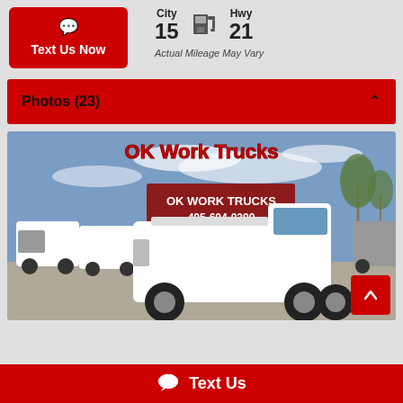Text Us Now
City 15   Hwy 21
Actual Mileage May Vary
Photos (23)
[Figure (photo): OK Work Trucks dealership lot photo showing white Ford F-150 pickup truck in foreground with red sign reading OK WORK TRUCKS 405-604-0300, multiple trucks in background, blue sky]
Text Us